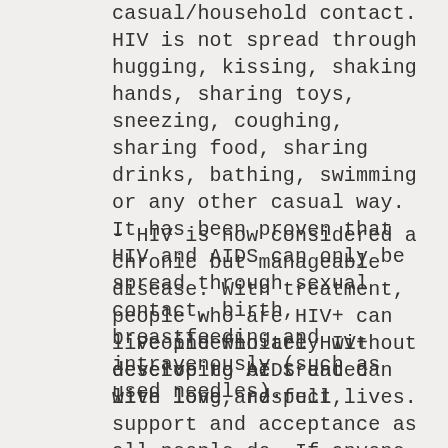casual/household contact. HIV is not spread through hugging, kissing, shaking hands, sharing toys, sneezing, coughing, sharing food, sharing drinks, bathing, swimming or any other casual way. It has been proven that HIV and AIDS can only be spread through sexual contact, birth, breastfeeding and intravenously (such as used needles).
- HIV is now considered a chronic but manageable disease. With treatment, people who are HIV+ can live indefinitely without developing AIDS and can live long and full lives.
- People who are HIV+ deserve to be treated with love, respect, support and acceptance as all people do. If anyone wants more info on transmission, there is great info on the Center for Disease Control website.